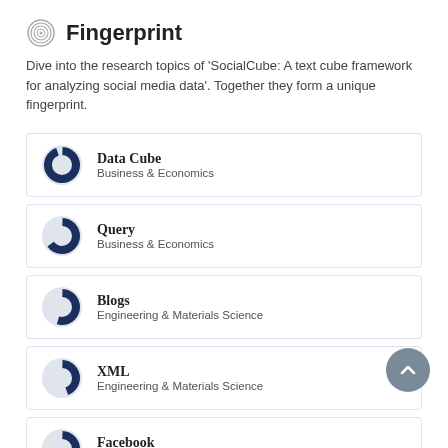Fingerprint
Dive into the research topics of 'SocialCube: A text cube framework for analyzing social media data'. Together they form a unique fingerprint.
Data Cube — Business & Economics
Query — Business & Economics
Blogs — Engineering & Materials Science
XML — Engineering & Materials Science
Facebook — Business & Economics